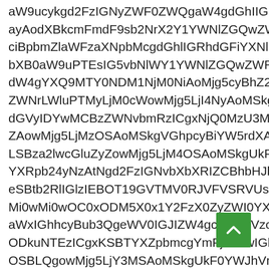aW9ucykgd2FzIGNyZWF0ZWQgaW4gdGhIIGRhdGF
ayAodXBkcmFmdF9sb2NrX2Y1YWNlZGQwZWRhYy
ciBpbmZlaWFzaXNpbMcgdGhlIGRhdGFiYXNlIGjAyO
bXB0aW9uPTEsIG5vbNlWY1YWNlZGQwZWRhY
dW4gYXQ9MTY0NDM1NjM0NiAoMjg5cyBhZ28pLC
ZWNrLWluPTMyLjM0cWowMjg5LjI4NyAoMSkgU2N
dGVyIDYwMCBzZWNvbmRzICgxNjQ0MzU3MjM1KSA
ZAowMjg5LjMzOSAoMSkgVGhpcyBiYW5rdXAgnVU
LSBza2lwcGluZyZowMjg5LjM4OSAoMSkgUkF0YWJI
YXRpb24yNzAtNgd2FzIGNvbXbXRIZCBhbHJlYWRDlAyC
eSBtb2RlIGlzIEBOT19GVTMV0RJVFVSRVUs
Mi0wMi0wOC0xODM5X0x1Y2FzX0ZyZWI0YXNfZjV
aWxIGhhcyBub3QgeWV0IGJIZW4gc3VjY2Vzc2Z1bC
ODkuNTEzICgxKSBTYXZpbmcgYmFja3VwIGhpc3Ryve
OSBLQgowMjg5LjY3MSAoMSkgUkF0YWJhVm
ZSBub3QgeWV0IEBjbI4bMSAoMTEsIFBkdZ
JZBub3QgeWV0EBjbI4bMSAoMTEsIFBktvwh